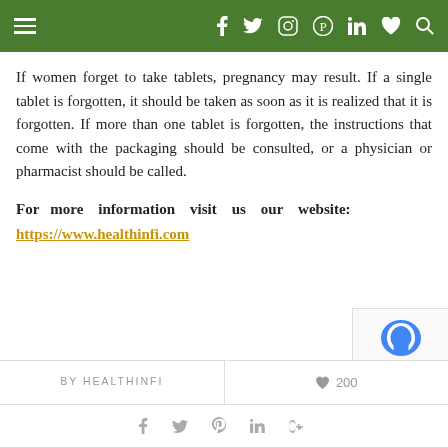Navigation bar with menu, social icons (f, twitter, instagram, pinterest, in, heart, search)
If women forget to take tablets, pregnancy may result. If a single tablet is forgotten, it should be taken as soon as it is realized that it is forgotten. If more than one tablet is forgotten, the instructions that come with the packaging should be consulted, or a physician or pharmacist should be called.
For more information visit us our website: https://www.healthinfi.com
BY HEALTHINFI | 200 likes | social share icons